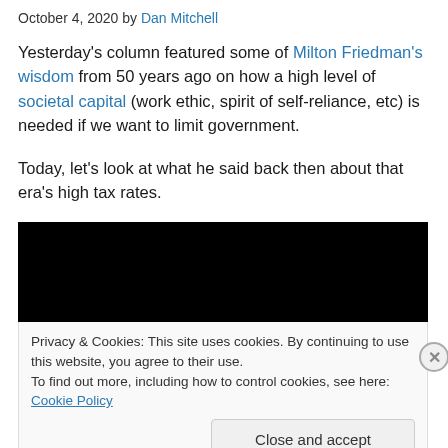October 4, 2020 by Dan Mitchell
Yesterday's column featured some of Milton Friedman's wisdom from 50 years ago on how a high level of societal capital (work ethic, spirit of self-reliance, etc) is needed if we want to limit government.
Today, let's look at what he said back then about that era's high tax rates.
[Figure (other): Embedded video player showing a black screen, with a cookie consent banner overlaid at the bottom containing privacy notice and a Close and accept button.]